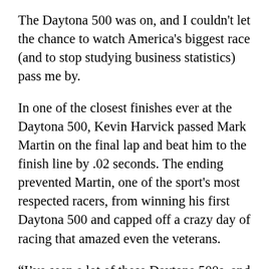The Daytona 500 was on, and I couldn't let the chance to watch America's biggest race (and to stop studying business statistics) pass me by.
In one of the closest finishes ever at the Daytona 500, Kevin Harvick passed Mark Martin on the final lap and beat him to the finish line by .02 seconds. The ending prevented Martin, one of the sport's most respected racers, from winning his first Daytona 500 and capped off a crazy day of racing that amazed even the veterans.
“I’ve seen a lot of these Daytona 500s, and this has to be the wildest Daytona 500 I’ve ever watched,” said Richard Childress, Harvick’s